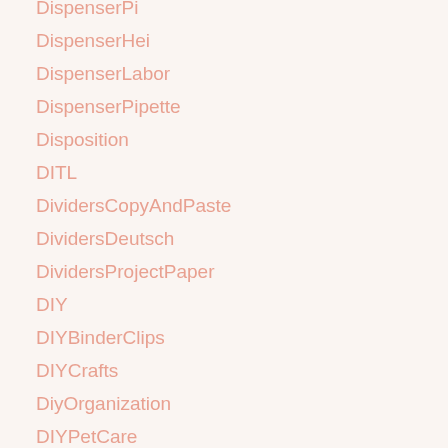DispenserPi
DispenserHei
DispenserLabor
DispenserPipette
Disposition
DITL
DividersCopyAndPaste
DividersDeutsch
DividersProjectPaper
DIY
DIYBinderClips
DIYCrafts
DiyOrganization
DIYPetCare
DIYRecipes